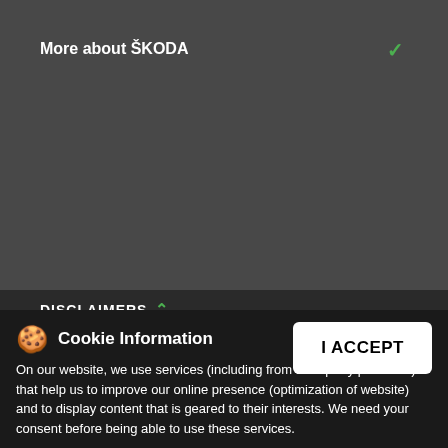More about ŠKODA
DISCLAIMERS
Images shown are representational purposes only. Specifications given differ from model to model. Accessories shown may not be part of standard equipment. Information relating to colours, prices, construction, technical details and equipment was valid at the time of issuance and these are subject to changes without any prior notice. T&C Apply.
©ŠKODA AUTO a.s. 2021    Cookies
Cookie Information
On our website, we use services (including from third-party providers) that help us to improve our online presence (optimization of website) and to display content that is geared to their interests. We need your consent before being able to use these services.
I ACCEPT
[Figure (screenshot): Google Play store badge]
[Figure (screenshot): Apple App Store badge]